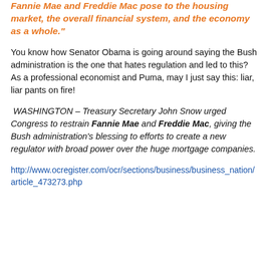Fannie Mae and Freddie Mac pose to the housing market, the overall financial system, and the economy as a whole."
You know how Senator Obama is going around saying the Bush administration is the one that hates regulation and led to this?  As a professional economist and Puma, may I just say this: liar, liar pants on fire!
WASHINGTON – Treasury Secretary John Snow urged Congress to restrain Fannie Mae and Freddie Mac, giving the Bush administration's blessing to efforts to create a new regulator with broad power over the huge mortgage companies.
http://www.ocregister.com/ocr/sections/business/business_nation/article_473273.php